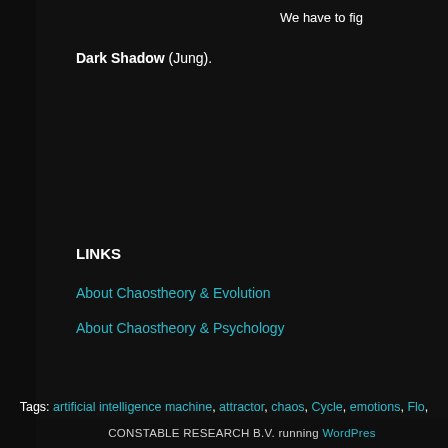We have to fig
Dark Shadow (Jung).
LINKS
About Chaostheory & Evolution
About Chaostheory & Psychology
Tags: artificial intelligence machine, attractor, chaos, Cycle, emotions, Flo, miller, jung, left right brain, point, quantum entang,
Posted in Completed, Mathematics, Phy
CONSTABLE RESEARCH B.V. running WordPress